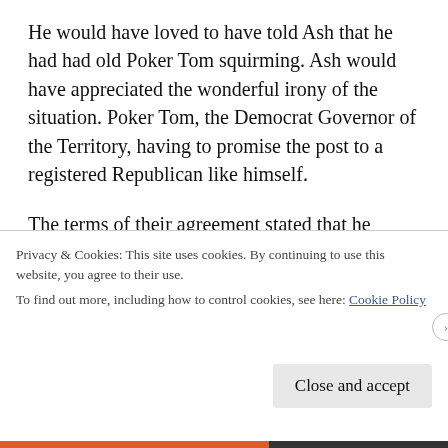He would have loved to have told Ash that he had had old Poker Tom squirming. Ash would have appreciated the wonderful irony of the situation. Poker Tom, the Democrat Governor of the Territory, having to promise the post to a registered Republican like himself.
The terms of their agreement stated that he would return to Las Cruces, set up residence, and act as a private investigator for the Territory of New Mexico until such time as was feasible when he would take over the post of County Sheriff.
Privacy & Cookies: This site uses cookies. By continuing to use this website, you agree to their use.
To find out more, including how to control cookies, see here: Cookie Policy